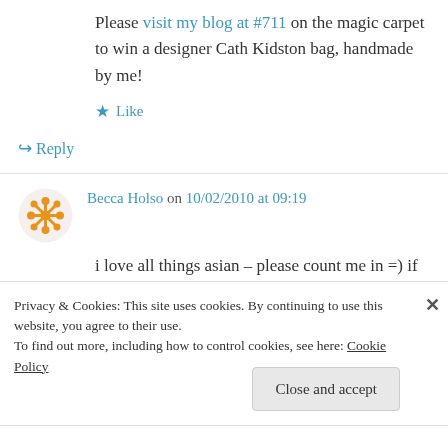Please visit my blog at #711 on the magic carpet to win a designer Cath Kidston bag, handmade by me!
★ Like
↪ Reply
Becca Holso on 10/02/2010 at 09:19
i love all things asian – please count me in =) if you have time, i hope you can stop by my blog too!
Privacy & Cookies: This site uses cookies. By continuing to use this website, you agree to their use.
To find out more, including how to control cookies, see here: Cookie Policy